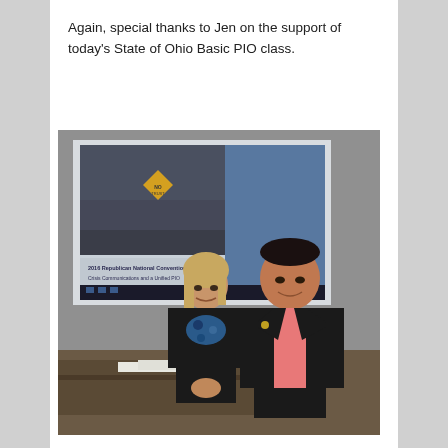Again, special thanks to Jen on the support of today's State of Ohio Basic PIO class.
[Figure (photo): Two people (a woman with blonde hair wearing a black jacket and blue patterned top, and a man in a black blazer with a pink shirt) standing and smiling in front of a projected presentation screen in a classroom setting. The projection screen shows a slide with a crowd photo and text reading '2016 Republican National Convention Crisis Communications and a Unified PIO'.]